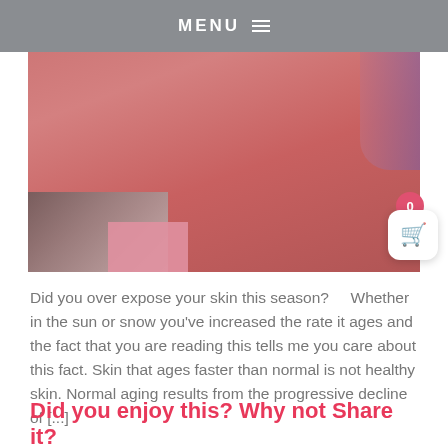MENU ≡
[Figure (photo): Close-up photo of a person's neck and shoulder area showing reddened, sun-exposed skin. The skin appears flushed/irritated. A blurred dark background and a small pink fabric visible at the bottom left corner. A shopping cart button with a red badge showing '0' is overlaid on the right side.]
Did you over expose your skin this season?     Whether in the sun or snow you've increased the rate it ages and the fact that you are reading this tells me you care about this fact. Skin that ages faster than normal is not healthy skin. Normal aging results from the progressive decline of [...]
Did you enjoy this? Why not Share it?